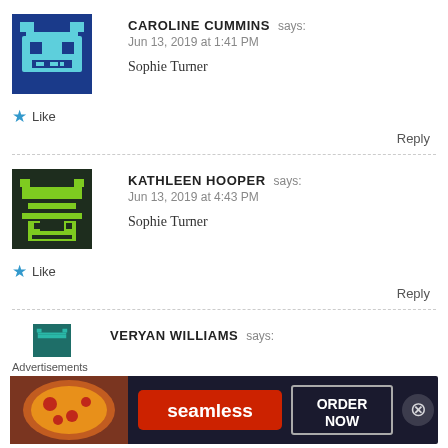CAROLINE CUMMINS says: Jun 13, 2019 at 1:41 PM
Sophie Turner
★ Like
Reply
KATHLEEN HOOPER says: Jun 13, 2019 at 4:43 PM
Sophie Turner
★ Like
Reply
VERYAN WILLIAMS says:
Advertisements
[Figure (screenshot): Seamless food delivery advertisement banner with pizza image, red Seamless logo, and ORDER NOW button on dark background]